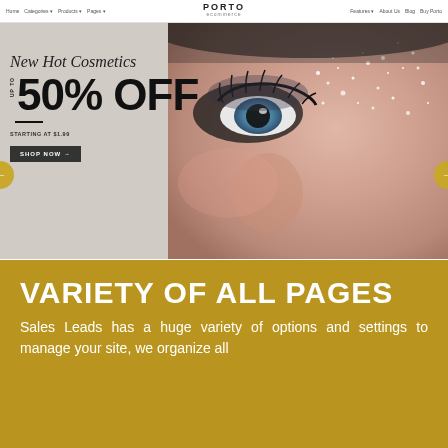[Figure (screenshot): Screenshot of Porto eCommerce website showing navigation bar with Home, Categories, Products, Pages menus on left and Features, About Us, Blog, Buy Porto on right, Porto logo centered, and a hero banner for cosmetics showing a close-up woman's face with glitter/sparkles makeup. Banner text: 'New Hot Cosmetics UP TO 50% OFF STARTING AT $1.99' with a SHOP NOW button. Left and right slider navigation arrows visible.]
VARIETY OF ALL PAGES
Sales Leads has a huge variety of options and settings to manage your site, we organize all